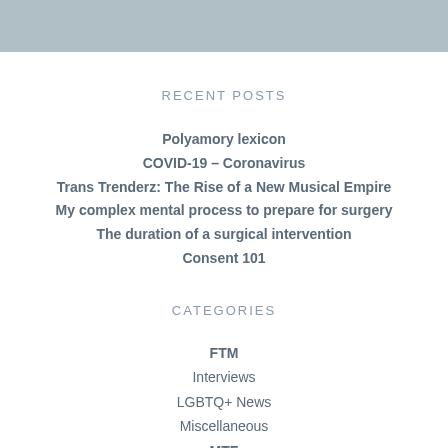RECENT POSTS
Polyamory lexicon
COVID-19 – Coronavirus
Trans Trenderz: The Rise of a New Musical Empire
My complex mental process to prepare for surgery
The duration of a surgical intervention
Consent 101
CATEGORIES
FTM
Interviews
LGBTQ+ News
Miscellaneous
MTF
Press Release